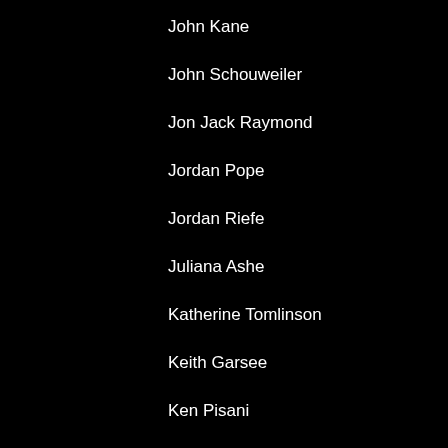John Kane
John Schouweiler
Jon Jack Raymond
Jordan Pope
Jordan Riefe
Juliana Ashe
Katherine Tomlinson
Keith Garsee
Ken Pisani
Kevin Wilson
L.C. Folk
Larry Amoros
Laurie Benenson
Laurie Horowitz